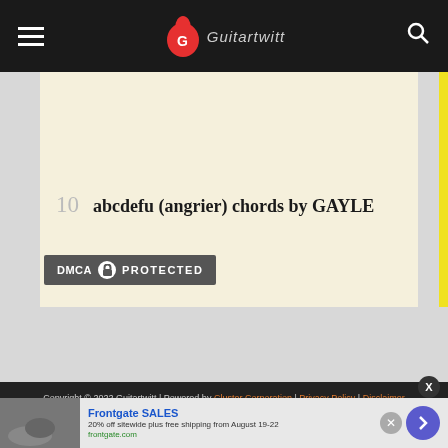Guitartwitt navigation bar
10  abcdefu (angrier) chords by GAYLE
[Figure (logo): DMCA Protected badge]
Copyright © 2022 Guitartwitt | Powered by Cluster Corporation | Privacy Policy | Disclaimer
[Figure (infographic): Advertisement: Frontgate SALES - 20% off sitewide plus free shipping from August 19-22. frontgate.com]